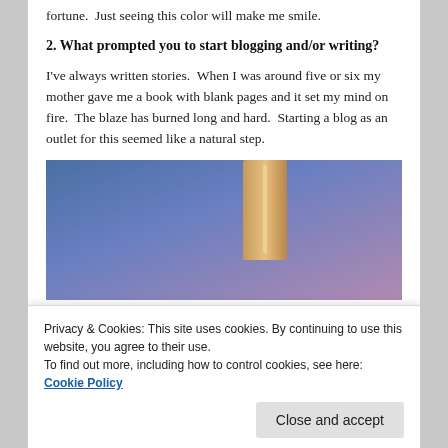fortune.  Just seeing this color will make me smile.
2. What prompted you to start blogging and/or writing?
I've always written stories.  When I was around five or six my mother gave me a book with blank pages and it set my mind on fire.  The blaze has burned long and hard.  Starting a blog as an outlet for this seemed like a natural step.
[Figure (photo): A blueish-purple gradient background with a tan/brown bookmark or book spine element in the upper center-right portion of the image.]
Privacy & Cookies: This site uses cookies. By continuing to use this website, you agree to their use.
To find out more, including how to control cookies, see here: Cookie Policy
Close and accept